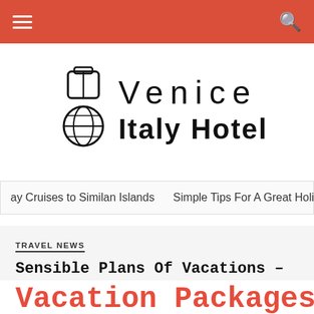Navigation bar with hamburger menu and search icon
[Figure (logo): Venice Italy Hotels logo with suitcase and globe icon, text reads 'Venice Italy Hotels' in wide-spaced letters]
ay Cruises to Similan Islands    Simple Tips For A Great Holid
TRAVEL NEWS
Sensible Plans Of Vacations – The Facts
thomas • 20/07/2020
Vacation Packages In